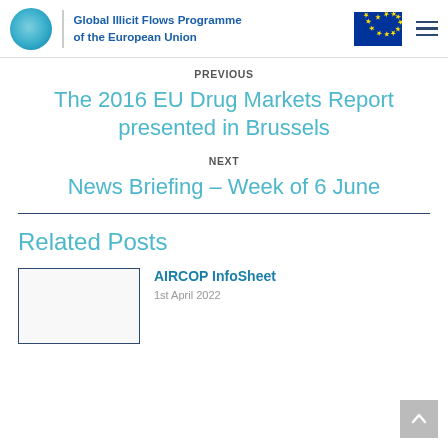Global Illicit Flows Programme of the European Union
PREVIOUS
The 2016 EU Drug Markets Report presented in Brussels
NEXT
News Briefing – Week of 6 June
Related Posts
AIRCOP InfoSheet
1st April 2022